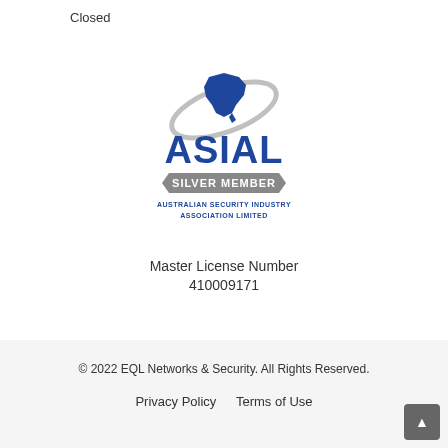Closed
[Figure (logo): ASIAL Silver Member logo — Australian Security Industry Association Limited, with swoosh around Australia map silhouette]
Master License Number
410009171
© 2022 EQL Networks & Security. All Rights Reserved.
Privacy Policy   Terms of Use